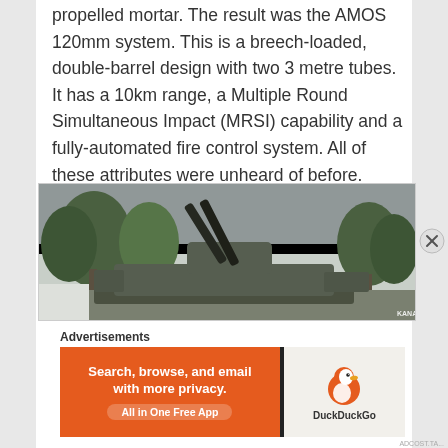propelled mortar. The result was the AMOS 120mm system. This is a breech-loaded, double-barrel design with two 3 metre tubes. It has a 10km range, a Multiple Round Simultaneous Impact (MRSI) capability and a fully-automated fire control system. All of these attributes were unheard of before.
[Figure (photo): A self-propelled mortar vehicle (AMOS system) with twin upward-angled barrels on a tracked chassis, photographed outdoors with trees in the background. A KANA watermark appears in the lower right.]
Advertisements
[Figure (screenshot): DuckDuckGo advertisement banner: orange left side with text 'Search, browse, and email with more privacy. All in One Free App'; black divider; grey right side with DuckDuckGo duck logo and brand name.]